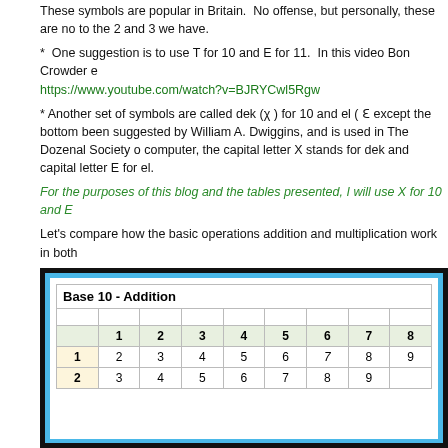These symbols are popular in Britain.  No offense, but personally, these are no to the 2 and 3 we have.
*  One suggestion is to use T for 10 and E for 11.  In this video Bon Crowder ex https://www.youtube.com/watch?v=BJRYCwl5Rgw
* Another set of symbols are called dek (χ ) for 10 and el ( Ɛ except the bottom been suggested by William A. Dwiggins, and is used in The Dozenal Society o computer, the capital letter X stands for dek and capital letter E for el.
For the purposes of this blog and the tables presented, I will use X for 10 and E
Let's compare how the basic operations addition and multiplication work in both
Adding:  Base 10 vs. Base 12
Below is an adding table (jpeg image) for numbers 1 through 12 represented in
| Base 10 - Addition |  |  |  |  |  |  |  |  |
| --- | --- | --- | --- | --- | --- | --- | --- | --- |
|  | 1 | 2 | 3 | 4 | 5 | 6 | 7 | 8 |
| 1 | 2 | 3 | 4 | 5 | 6 | 7 | 8 | 9 |
| 2 | 3 | 4 | 5 | 6 | 7 | 8 | 9 |  |